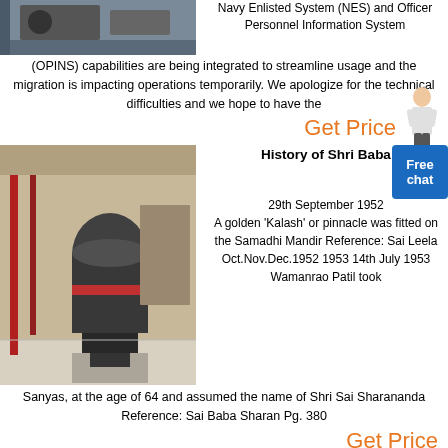[Figure (photo): Industrial/military machinery or equipment viewed from above, dark metal parts on a platform]
Navy Enlisted System (NES) and Officer Personnel Information System (OPINS) capabilities are being integrated to streamline usage and the migration is impacting operations temporarily. We apologize for the technical difficulties and we hope to have the
Get Price
[Figure (photo): Industrial mill or grinding machine inside a large factory/warehouse with red structural supports and high ceiling]
History of Shri Baba
29th September 1952 A golden 'Kalash' or pinnacle was fitted on the Samadhi Mandir Reference: Sai Leela Oct.Nov.Dec.1952 1953 14th July 1953 Wamanrao Patil took Sanyas, at the age of 64 and assumed the name of Shri Sai Sharananda Reference: Sai Baba Sharan Pg. 380
Get Price